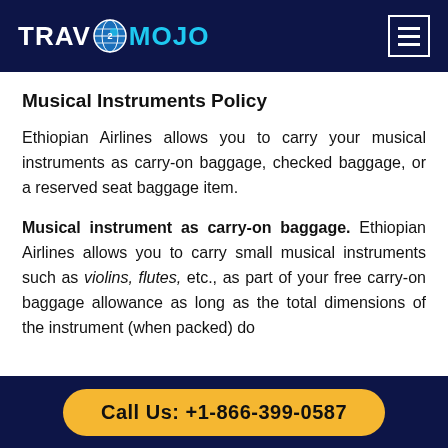TRAVMOJO
Musical Instruments Policy
Ethiopian Airlines allows you to carry your musical instruments as carry-on baggage, checked baggage, or a reserved seat baggage item.
Musical instrument as carry-on baggage. Ethiopian Airlines allows you to carry small musical instruments such as violins, flutes, etc., as part of your free carry-on baggage allowance as long as the total dimensions of the instrument (when packed) do
Call Us: +1-866-399-0587